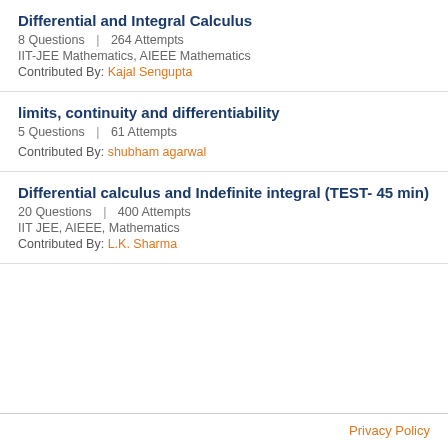Differential and Integral Calculus
8 Questions  |  264 Attempts
IIT-JEE Mathematics, AIEEE Mathematics
Contributed By: Kajal Sengupta
limits, continuity and differentiability
5 Questions  |  61 Attempts
Contributed By: shubham agarwal
Differential calculus and Indefinite integral (TEST- 45 min)
20 Questions  |  400 Attempts
IIT JEE, AIEEE, Mathematics
Contributed By: L.K. Sharma
Privacy Policy